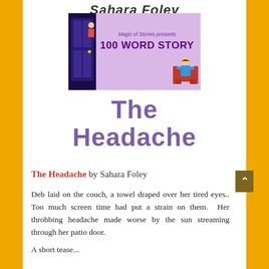Sahara Foley
[Figure (illustration): Magic of Stories presents 100 WORD STORY banner with purple background, door illustration on left and person in armchair on right]
The Headache
The Headache by Sahara Foley
Deb laid on the couch, a towel draped over her tired eyes.. Too much screen time had put a strain on them.  Her throbbing headache made worse by the sun streaming through her patio door.
A short tease... Deb has a headache...